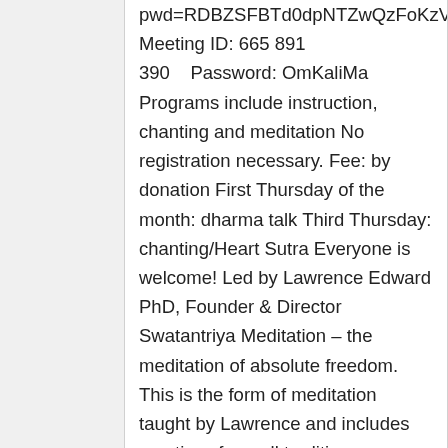pwd=RDBZSFBTd0dpNTZwQzFoKzVEUUtYdzC Meeting ID: 665 891 390    Password: OmKaliMa Programs include instruction, chanting and meditation No registration necessary. Fee: by donation First Thursday of the month: dharma talk Third Thursday: chanting/Heart Sutra Everyone is welcome! Led by Lawrence Edward PhD, Founder & Director Swatantriya Meditation – the meditation of absolute freedom. This is the form of meditation taught by Lawrence and includes practices from all traditions....
Find out more »
Bi-Weekly Meditation Sessions
September 15 @ 7:15 pm - 8:30 pm
Recurring Event (See all)